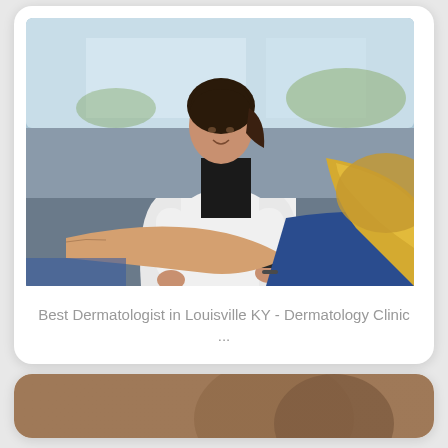[Figure (photo): A female dermatologist in a white coat examining a patient's arm/skin using a dermoscope tool. The patient is a blonde woman lying down wearing blue jeans. The setting is a bright medical clinic with large windows.]
Best Dermatologist in Louisville KY - Dermatology Clinic ...
[Figure (photo): Partial view of a second card at the bottom of the page showing a cropped medical or dermatology photo (partially visible).]